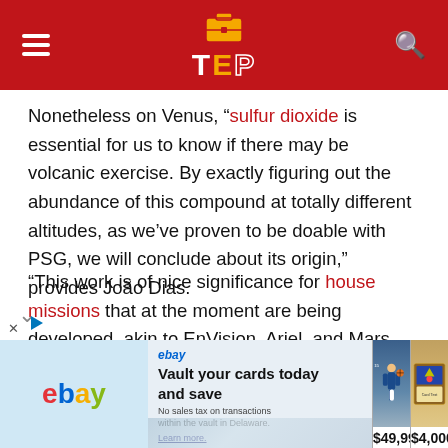TEP
Nonetheless on Venus, “sulfur dioxide is essential for us to know if there may be volcanic exercise. By exactly figuring out the abundance of this compound at totally different altitudes, as we’ve proven to be doable with PSG, we will conclude about its origin,” provides João Dias.
“This work is of nice significance for house missions that at the moment are being developed, akin to EnVision, Ariel, and Mars Categorical, from the European House Company (ESA), wherein IA is concerned, by telling us the anticipated values for these chemical elements and hitting the devices which are being designed for these
[Figure (screenshot): eBay advertisement banner showing 'Vault your cards today and save' with trading card images priced at $49,999.99 and $4,000]